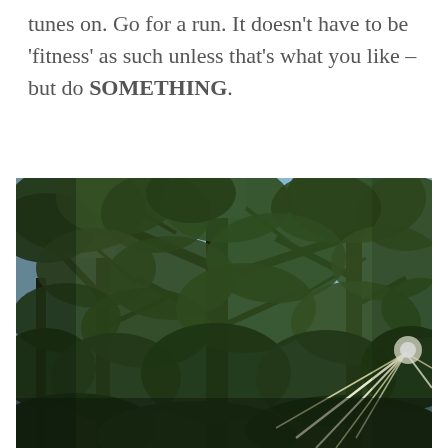tunes on. Go for a run. It doesn't have to be 'fitness' as such unless that's what you like – but do SOMETHING.
[Figure (photo): Upward-looking photograph of tall trees with dense green foliage and branches against a bright sky, with sunlight rays visible in the lower right area of the image.]